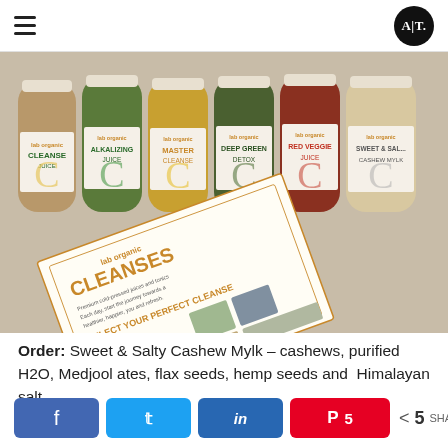AT
[Figure (photo): Six juice/mylk bottles from lab organic lined up (Cleanse Juice, Alkalizing Juice, Master Cleanse, Deep Green Detox, Red Veggie Juice, Sweet & Salty Cashew Mylk) with a CLEANSES menu card in front.]
Order: Sweet & Salty Cashew Mylk – cashews, purified H2O, Medjool ates, flax seeds, hemp seeds and Himalayan salt